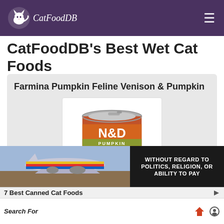CatFoodDB
CatFoodDB's Best Wet Cat Foods
Farmina Pumpkin Feline Venison & Pumpkin
[Figure (photo): Can of Farmina N&D Pumpkin Venison & Pumpkin cat food]
Check Amazon Price
Primary Proteins: venison, chicken and herring
Allergens: seafood and eggs
Product Highlights:
Search For
7 Best Canned Cat Foods
[Figure (photo): Advertisement banner showing airplane and text WITHOUT REGARD TO]